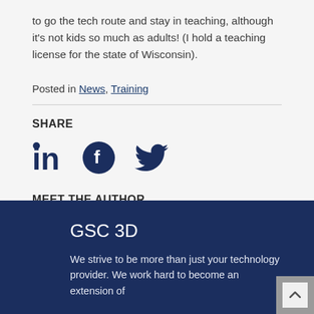to go the tech route and stay in teaching, although it's not kids so much as adults! (I hold a teaching license for the state of Wisconsin).
Posted in News, Training
SHARE
[Figure (infographic): Social media share icons: LinkedIn, Facebook, Twitter]
MEET THE AUTHOR
GSC 3D
We strive to be more than just your technology provider. We work hard to become an extension of